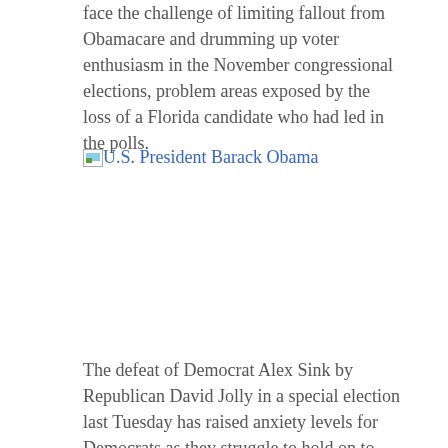face the challenge of limiting fallout from Obamacare and drumming up voter enthusiasm in the November congressional elections, problem areas exposed by the loss of a Florida candidate who had led in the polls.
[Figure (photo): Broken image placeholder for U.S. President Barack Obama photo with alt text link]
The defeat of Democrat Alex Sink by Republican David Jolly in a special election last Tuesday has raised anxiety levels for Democrats as they struggle to hold on to